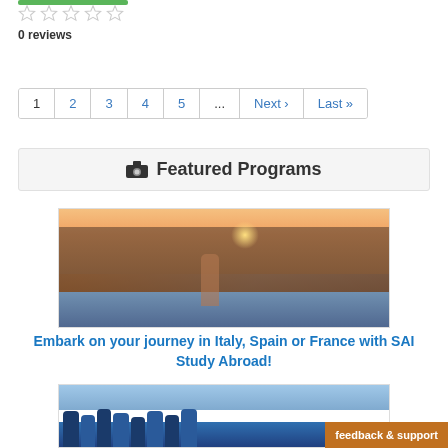[Figure (other): Green progress/rating bar at top]
[Figure (other): Five empty star rating icons]
0 reviews
1  2  3  4  5  ...  Next ›  Last »
Featured Programs
[Figure (photo): Young woman in pink cardigan sitting on a bridge railing with Italian riverside buildings and sunset in background]
Embark on your journey in Italy, Spain or France with SAI Study Abroad!
[Figure (photo): Group of students at a beach or waterfront, partially visible]
feedback & support